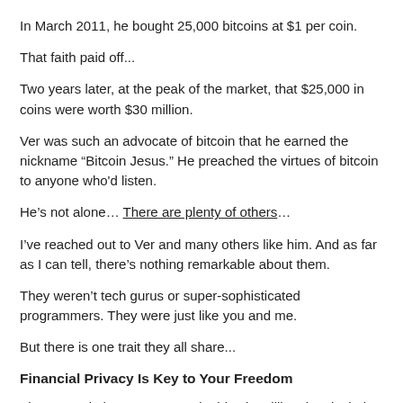In March 2011, he bought 25,000 bitcoins at $1 per coin.
That faith paid off...
Two years later, at the peak of the market, that $25,000 in coins were worth $30 million.
Ver was such an advocate of bitcoin that he earned the nickname “Bitcoin Jesus.” He preached the virtues of bitcoin to anyone who'd listen.
He’s not alone… There are plenty of others…
I’ve reached out to Ver and many others like him. And as far as I can tell, there’s nothing remarkable about them.
They weren’t tech gurus or super-sophisticated programmers. They were just like you and me.
But there is one trait they all share...
Financial Privacy Is Key to Your Freedom
The one trait that seems to unite bitcoin millionaires is their dislike of big government.